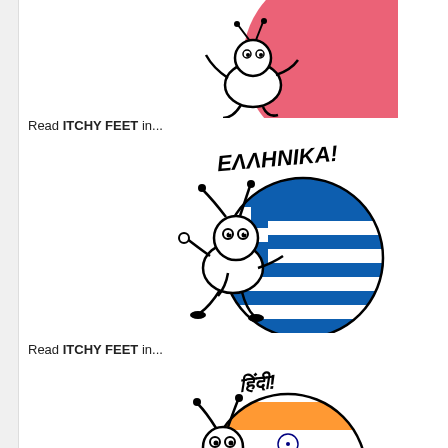[Figure (illustration): Cartoon character running with a pink/red circular flag ball, partially cropped at top of page]
Read ITCHY FEET in...
[Figure (illustration): Cartoon bug character pushing a circular Greek flag ball with the text ΕΛΛΗΝΙΚΑ! written above in hand-drawn lettering]
Read ITCHY FEET in...
[Figure (illustration): Cartoon bug character pushing a circular Indian flag ball with Hindi text written above in hand-drawn lettering, partially cropped at bottom]